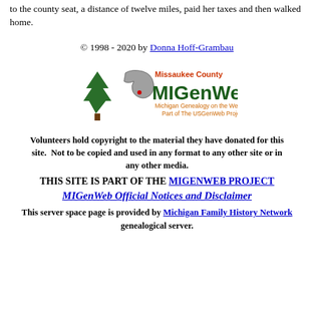to the county seat, a distance of twelve miles, paid her taxes and then walked home.
© 1998 - 2020 by Donna Hoff-Grambau
[Figure (logo): Missaukee County MIGenWeb logo — Michigan Genealogy on the Web, Part of The USGenWeb Project]
Volunteers hold copyright to the material they have donated for this site.  Not to be copied and used in any format to any other site or in any other media.
THIS SITE IS PART OF THE MIGENWEB PROJECT
MIGenWeb Official Notices and Disclaimer
This server space page is provided by Michigan Family History Network genealogical server.